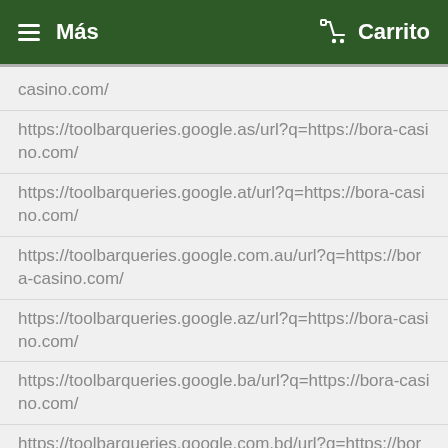≡ Más   🛒 Carrito
casino.com/
https://toolbarqueries.google.as/url?q=https://bora-casino.com/
https://toolbarqueries.google.at/url?q=https://bora-casino.com/
https://toolbarqueries.google.com.au/url?q=https://bora-casino.com/
https://toolbarqueries.google.az/url?q=https://bora-casino.com/
https://toolbarqueries.google.ba/url?q=https://bora-casino.com/
https://toolbarqueries.google.com.bd/url?q=https://bora-casino.com/
https://toolbarqueries.google.bf/url?q=https://bora-casino.com/
https://toolbarqueries.google.bg/url?q=https://bora-casino.com/